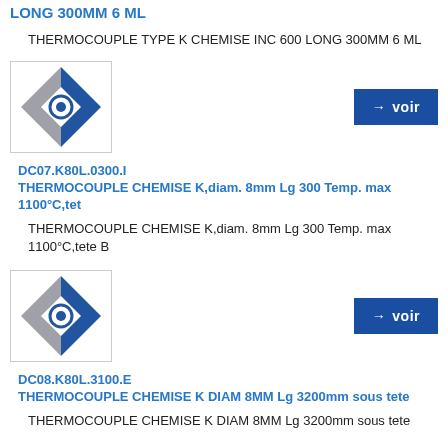THERMOCOUPLE TYPE K CHEMISE INC 600 LONG 300MM 6 ML
THERMOCOUPLE TYPE K CHEMISE INC 600 LONG 300MM 6 ML
[Figure (logo): Thermocouple product icon: diamond shape with blue and grey sections and a circular element in the center]
→ voir
DC07.K80L.0300.I
THERMOCOUPLE CHEMISE K,diam. 8mm Lg 300 Temp. max 1100°C,tet
THERMOCOUPLE CHEMISE K,diam. 8mm Lg 300 Temp. max 1100°C,tete B
[Figure (logo): Thermocouple product icon: diamond shape with blue and grey sections and a circular element in the center]
→ voir
DC08.K80L.3100.E
THERMOCOUPLE CHEMISE K DIAM 8MM Lg 3200mm sous tete
THERMOCOUPLE CHEMISE K DIAM 8MM Lg 3200mm sous tete